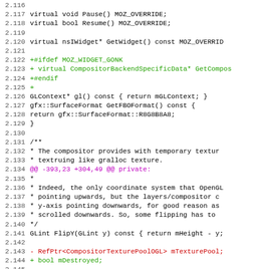Code diff showing C++ source lines 2.116 through 2.147, including virtual method declarations, preprocessor directives for MOZ_WIDGET_GONK, GL context and surface format methods, and a FlipY function, with diff markers showing additions and removals.